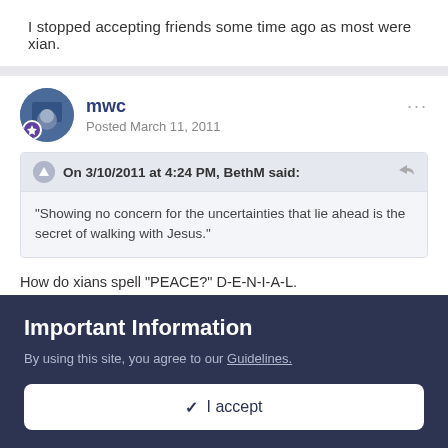I stopped accepting friends some time ago as most were xian.
On 3/10/2011 at 4:24 PM, BethM said:
"Showing no concern for the uncertainties that lie ahead is the secret of walking with Jesus."
mwc
Posted March 11, 2011
How do xians spell "PEACE?" D-E-N-I-A-L.
mwc
Important Information
By using this site, you agree to our Guidelines.
✓ I accept